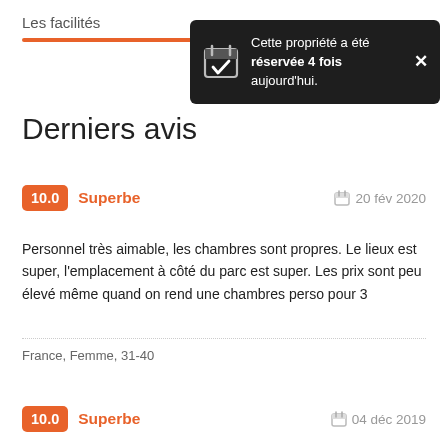Les facilités
[Figure (infographic): Dark tooltip popup with calendar icon saying 'Cette propriété a été réservée 4 fois aujourd'hui.' with a close X button]
Derniers avis
10.0  Superbe  20 fév 2020
Personnel très aimable, les chambres sont propres. Le lieux est super, l'emplacement à côté du parc est super. Les prix sont peu élevé même quand on rend une chambres perso pour 3
France, Femme, 31-40
10.0  Superbe  04 déc 2019